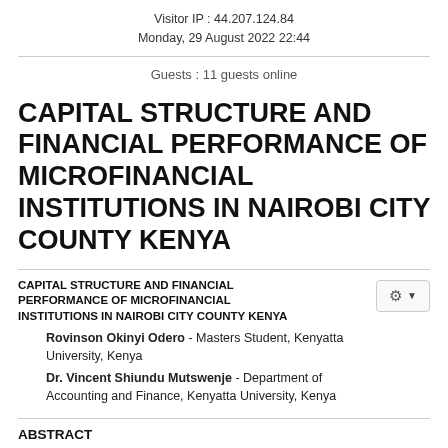Visitor IP : 44.207.124.84
Monday, 29 August 2022 22:44
Guests : 11 guests online
CAPITAL STRUCTURE AND FINANCIAL PERFORMANCE OF MICROFINANCIAL INSTITUTIONS IN NAIROBI CITY COUNTY KENYA
CAPITAL STRUCTURE AND FINANCIAL PERFORMANCE OF MICROFINANCIAL INSTITUTIONS IN NAIROBI CITY COUNTY KENYA
Rovinson Okinyi Odero - Masters Student, Kenyatta University, Kenya
Dr. Vincent Shiundu Mutswenje - Department of Accounting and Finance, Kenyatta University, Kenya
ABSTRACT
This research was intended to appraise ramification of the